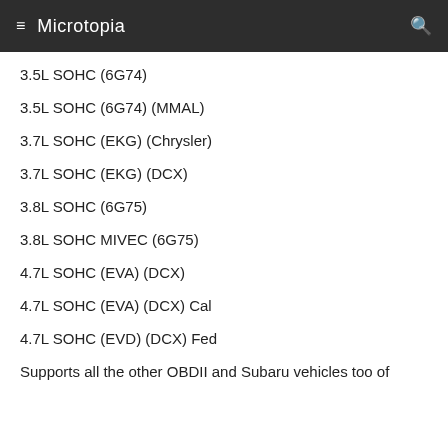≡ Microtopia 🔍
3.5L SOHC (6G74)
3.5L SOHC (6G74) (MMAL)
3.7L SOHC (EKG) (Chrysler)
3.7L SOHC (EKG) (DCX)
3.8L SOHC (6G75)
3.8L SOHC MIVEC (6G75)
4.7L SOHC (EVA) (DCX)
4.7L SOHC (EVA) (DCX) Cal
4.7L SOHC (EVD) (DCX) Fed
Supports all the other OBDII and Subaru vehicles too of